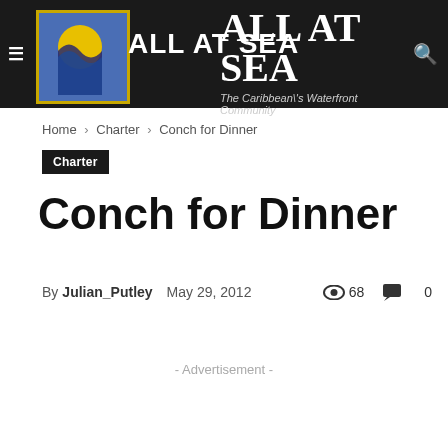ALL AT SEA — The Caribbean\'s Waterfront Community
Home › Charter › Conch for Dinner
Charter
Conch for Dinner
By Julian_Putley   May 29, 2012   68 views   0 comments
- Advertisement -